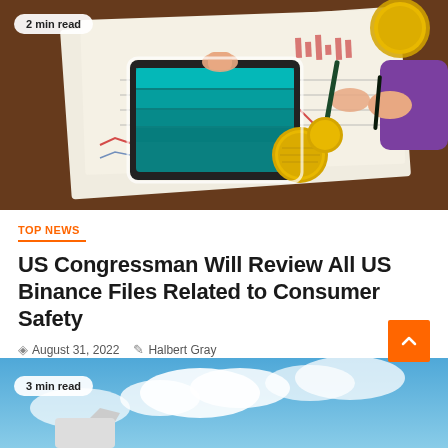[Figure (illustration): Illustrated image showing hands working with a tablet, financial charts, documents, and gold coins on a dark wooden desk. A badge reading '2 min read' is overlaid in the top left.]
TOP NEWS
US Congressman Will Review All US Binance Files Related to Consumer Safety
August 31, 2022  Halbert Gray
[Figure (photo): Partial photo of a blue sky with white clouds and an airplane tail visible. A badge reading '3 min read' is overlaid in the top left.]